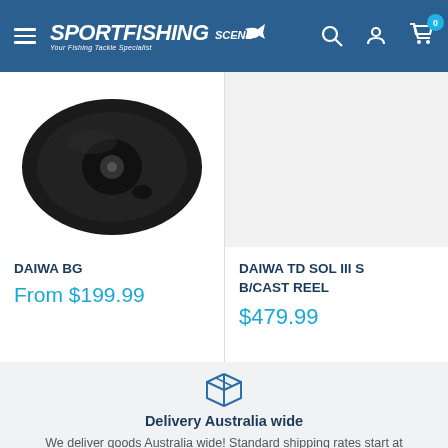SPORTFISHING SCENE - Your Fishing Tackle Specialist
[Figure (photo): Daiwa BG fishing reel product image - black reel shown from above]
DAIWA BG
From $199.99
DAIWA TD SOL III S... B/CAST REEL
$479.99
[Figure (illustration): Package/box delivery icon - blue outlined box with lines indicating a parcel]
Delivery Australia wide
We deliver goods Australia wide! Standard shipping rates start at $10 AUD